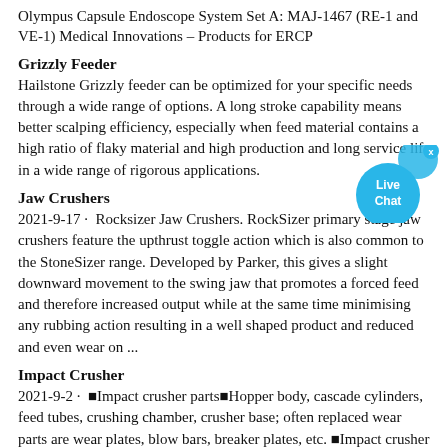Olympus Capsule Endoscope System Set A: MAJ-1467 (RE-1 and VE-1) Medical Innovations – Products for ERCP
Grizzly Feeder
Hailstone Grizzly feeder can be optimized for your specific needs through a wide range of options. A long stroke capability means better scalping efficiency, especially when feed material contains a high ratio of flaky material and high production and long service life in a wide range of rigorous applications.
Jaw Crushers
2021-9-17 · Rocksizer Jaw Crushers. RockSizer primary stage jaw crushers feature the upthrust toggle action which is also common to the StoneSizer range. Developed by Parker, this gives a slight downward movement to the swing jaw that promotes a forced feed and therefore increased output while at the same time minimising any rubbing action resulting in a well shaped product and reduced and even wear on ...
Impact Crusher
2021-9-2 · ■Impact crusher parts■Hopper body, cascade cylinders, feed tubes, crushing chamber, crusher base; often replaced wear parts are wear plates, blow bars, breaker plates, etc. ■Impact crusher working principle■Impact crusher is a machine that breaks materials using the impact of energy. The rotor rotates of our impact crusher with a high ...